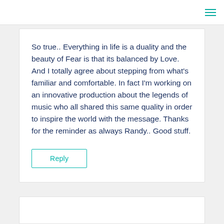So true.. Everything in life is a duality and the beauty of Fear is that its balanced by Love. And I totally agree about stepping from what's familiar and comfortable. In fact I'm working on an innovative production about the legends of music who all shared this same quality in order to inspire the world with the message. Thanks for the reminder as always Randy.. Good stuff.
Reply